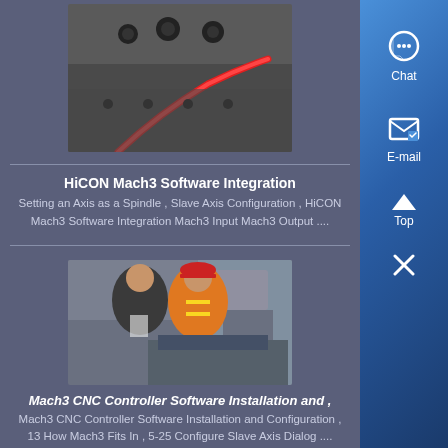[Figure (photo): Close-up photo of CNC machine with red cable/wiring on grey metal surface]
HiCON Mach3 Software Integration
Setting an Axis as a Spindle , Slave Axis Configuration , HiCON Mach3 Software Integration Mach3 Input Mach3 Output ....
[Figure (photo): Two workers in industrial setting, one wearing orange safety vest and red hard hat, examining CNC equipment]
Mach3 CNC Controller Software Installation and ,
Mach3 CNC Controller Software Installation and Configuration , 13 How Mach3 Fits In , 5-25 Configure Slave Axis Dialog ....
[Figure (photo): Factory interior / industrial machinery, partially visible at bottom of page]